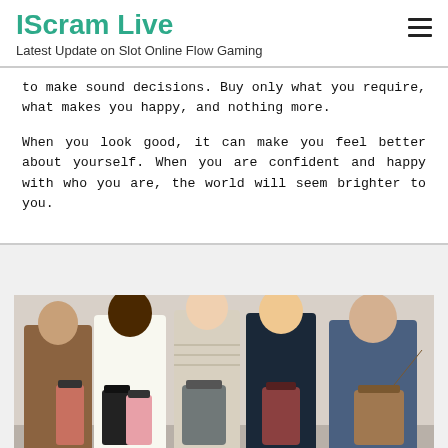IScram Live
Latest Update on Slot Online Flow Gaming
to make sound decisions. Buy only what you require, what makes you happy, and nothing more.
When you look good, it can make you feel better about yourself. When you are confident and happy with who you are, the world will seem brighter to you.
[Figure (photo): Group of people holding shopping bags in a store or mall setting]